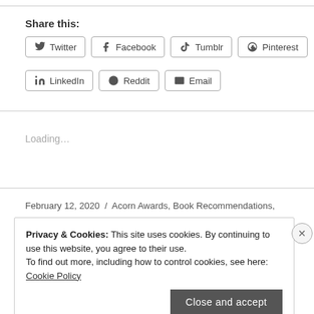Share this:
Twitter | Facebook | Tumblr | Pinterest | LinkedIn | Reddit | Email
Loading...
February 12, 2020 / Acorn Awards, Book Recommendations,
Privacy & Cookies: This site uses cookies. By continuing to use this website, you agree to their use. To find out more, including how to control cookies, see here: Cookie Policy
Close and accept